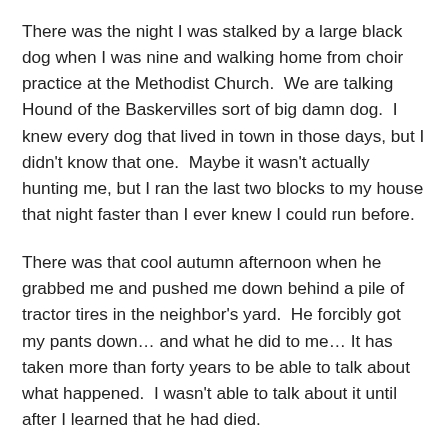There was the night I was stalked by a large black dog when I was nine and walking home from choir practice at the Methodist Church.  We are talking Hound of the Baskervilles sort of big damn dog.  I knew every dog that lived in town in those days, but I didn't know that one.  Maybe it wasn't actually hunting me, but I ran the last two blocks to my house that night faster than I ever knew I could run before.
There was that cool autumn afternoon when he grabbed me and pushed me down behind a pile of tractor tires in the neighbor's yard.  He forcibly got my pants down… and what he did to me… It has taken more than forty years to be able to talk about what happened.  I wasn't able to talk about it until after I learned that he had died.